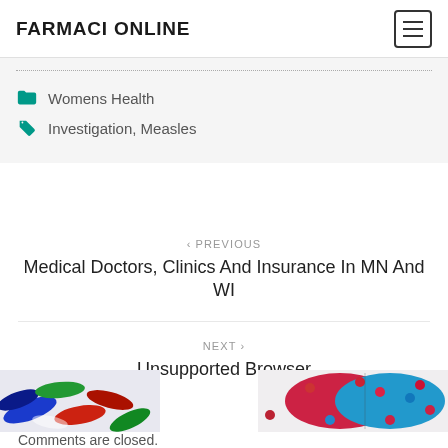FARMACI ONLINE
Womens Health
Investigation, Measles
< PREVIOUS
Medical Doctors, Clinics And Insurance In MN And WI
NEXT >
Unsupported Browser
[Figure (photo): Left: colorful medical capsules/pills scattered. Right: red and blue capsule with small pills.]
Comments are closed.